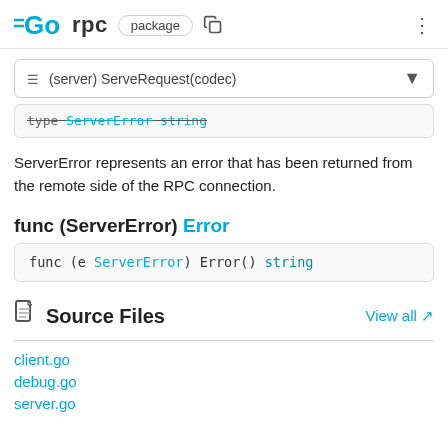GO rpc package
≡ (server) ServeRequest(codec)
type ServerError string
ServerError represents an error that has been returned from the remote side of the RPC connection.
func (ServerError) Error
func (e ServerError) Error() string
Source Files
client.go
debug.go
server.go